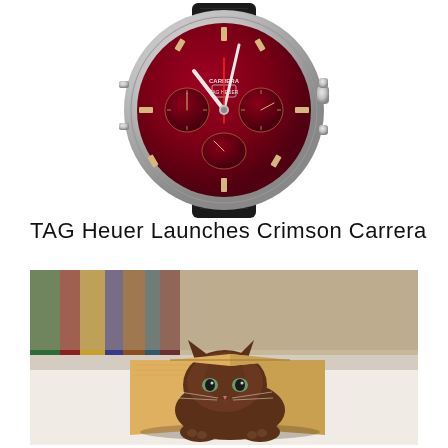[Figure (photo): TAG Heuer Carrera chronograph watch with crimson/red dial, silver stainless steel case, subdials, and black leather strap, shown on white background]
TAG Heuer Launches Crimson Carrera
[Figure (photo): A small brown kitten peeking out from under an open book lying flat on a white surface, with colorful books blurred in the background]